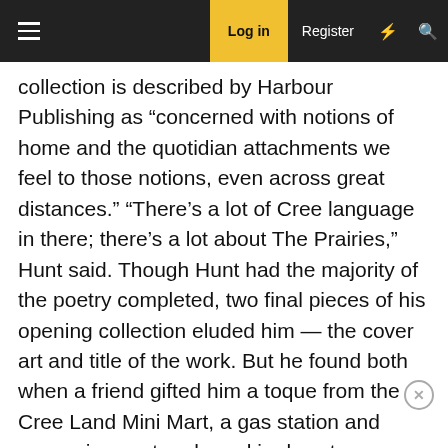Log in  Register
collection is described by Harbour Publishing as “concerned with notions of home and the quotidian attachments we feel to those notions, even across great distances.” “There’s a lot of Cree language in there; there’s a lot about The Prairies,” Hunt said. Though Hunt had the majority of the poetry completed, two final pieces of his opening collection eluded him — the cover art and title of the work. But he found both when a friend gifted him a toque from the Cree Land Mini Mart, a gas station and convenience store based in downtown Regina. It struck Hunt immediately as both the title and the cover art for his collection. “I had most of the manuscript. I was just struggling with the title. I couldn’t figure out what to call it. What was the unifying theme to the text? I just saw the toque and I was like, ‘yeah, that’s it. I liked the word CREELAND in all caps because it’s an assertion to territory — Cree Land — but there’s also a playfulness there as it